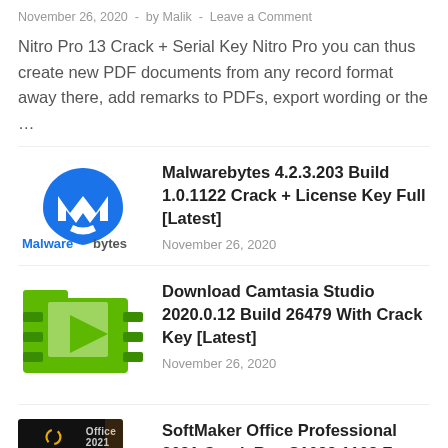November 26, 2020 - by Malik - Leave a Comment
Nitro Pro 13 Crack + Serial Key Nitro Pro you can thus create new PDF documents from any record format away there, add remarks to PDFs, export wording or the …
[Figure (logo): Malwarebytes logo with blue flame/shield icon and Malwarebytes wordmark]
Malwarebytes 4.2.3.203 Build 1.0.1122 Crack + License Key Full [Latest]
November 26, 2020
[Figure (logo): Camtasia Studio logo - green folder-like icon]
Download Camtasia Studio 2020.0.12 Build 26479 With Crack Key [Latest]
November 26, 2020
[Figure (photo): SoftMaker Office 2021 box art - dark box with Office 2021 text and circular logo]
SoftMaker Office Professional 2021 Crack Rev S1022.1108 Free Download
November 26, 2020